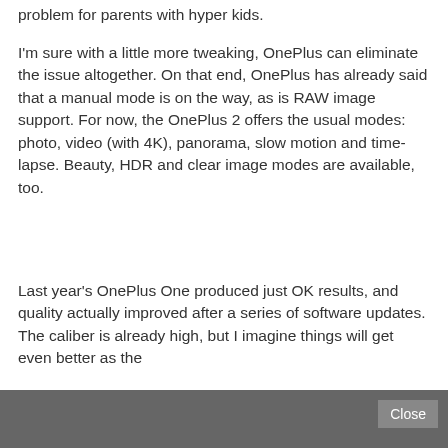problem for parents with hyper kids.
I'm sure with a little more tweaking, OnePlus can eliminate the issue altogether. On that end, OnePlus has already said that a manual mode is on the way, as is RAW image support. For now, the OnePlus 2 offers the usual modes: photo, video (with 4K), panorama, slow motion and time-lapse. Beauty, HDR and clear image modes are available, too.
Last year's OnePlus One produced just OK results, and quality actually improved after a series of software updates. The caliber is already high, but I imagine things will get even better as the